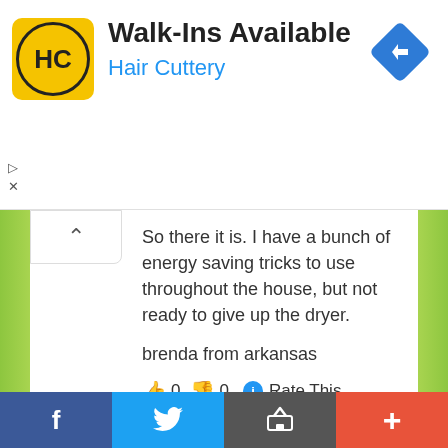[Figure (screenshot): Hair Cuttery advertisement banner with yellow HC logo, 'Walk-Ins Available' heading, 'Hair Cuttery' subtitle in blue, and blue diamond navigation arrow icon]
So there it is. I have a bunch of energy saving tricks to use throughout the house, but not ready to give up the dryer.
brenda from arkansas
👍 0 👎 0 ℹ Rate This
Reply
Annelise says
April 2, 2012 at 11:12